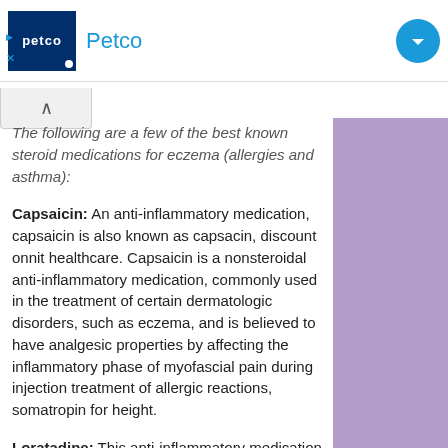[Figure (other): Petco advertisement banner with logo and brand name]
The following are a few of the best known steroid medications for eczema (allergies and asthma):
Capsaicin: An anti-inflammatory medication, capsaicin is also known as capsacin, discount onnit healthcare. Capsaicin is a nonsteroidal anti-inflammatory medication, commonly used in the treatment of certain dermatologic disorders, such as eczema, and is believed to have analgesic properties by affecting the inflammatory phase of myofascial pain during injection treatment of allergic reactions, somatropin for height.
Loratadine: This anti-inflammatory medication is believed to reduce systemic inflammation associated with eczema, onnit healthcare discount. Although it is not approved by the FDA for the treatment of